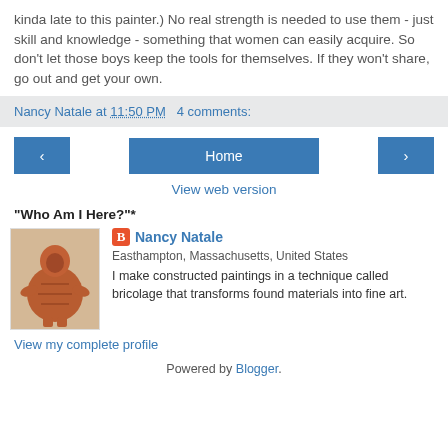kinda late to this painter.) No real strength is needed to use them - just skill and knowledge - something that women can easily acquire. So don't let those boys keep the tools for themselves. If they won't share, go out and get your own.
Nancy Natale at 11:50 PM   4 comments:
Home
View web version
"Who Am I Here?"*
[Figure (photo): Profile photo showing a decorative figurine, reddish-brown ceramic idol figure]
Nancy Natale
Easthampton, Massachusetts, United States
I make constructed paintings in a technique called bricolage that transforms found materials into fine art.
View my complete profile
Powered by Blogger.